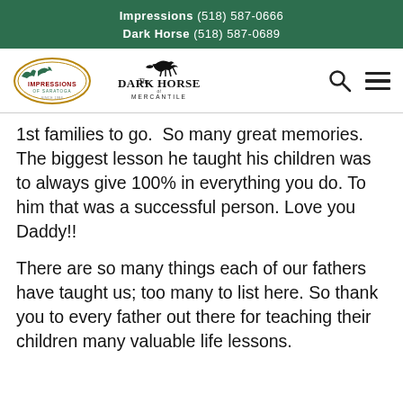Impressions (518) 587-0666
Dark Horse (518) 587-0689
[Figure (logo): Navigation bar with Impressions of Saratoga logo, The Dark Horse Mercantile logo, search icon, and hamburger menu icon]
1st families to go.  So many great memories.  The biggest lesson he taught his children was to always give 100% in everything you do. To him that was a successful person. Love you Daddy!!
There are so many things each of our fathers have taught us; too many to list here. So thank you to every father out there for teaching their children many valuable life lessons.